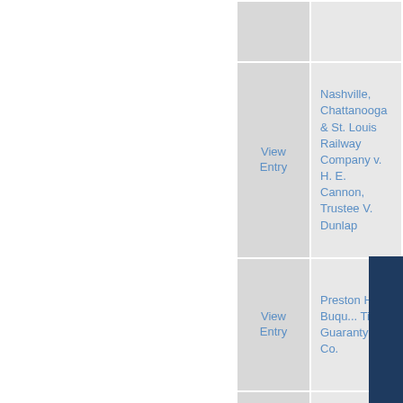|  |  |
| --- | --- |
| View Entry | Nashville, Chattanooga & St. Louis Railway Company v. H. E. Cannon, Trustee V. Dunlap |
| View Entry | Preston H. Buqu... Title Guaranty & Co. |
| View Entry | Peter M. Reeves William P. Reeve... |
|  |  |